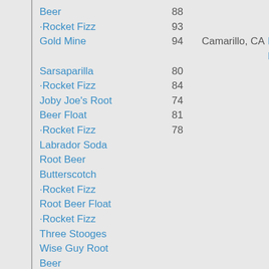Beer  88
·Rocket Fizz  93
Gold Mine  94  Camarillo, CA  Rocket Fizz
Sarsaparilla  80
·Rocket Fizz  84
Joby Joe's Root  74
Beer Float  81
·Rocket Fizz  78
Labrador Soda
Root Beer
Butterscotch
·Rocket Fizz
Root Beer Float
·Rocket Fizz
Three Stooges
Wise Guy Root
Beer